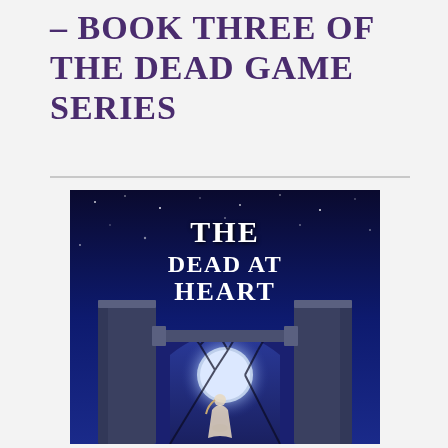– BOOK THREE OF THE DEAD GAME SERIES
[Figure (illustration): Book cover for 'The Dead at Heart' – dark blue background with starry night sky, stone archway with a moonlit scene through it showing bare tree branches and a standing figure, title text 'THE DEAD AT HEART' in large white serif font at the top of the cover]